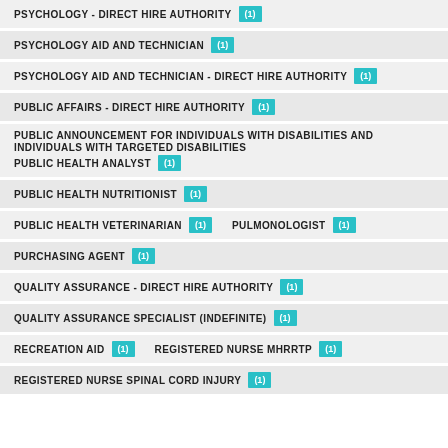PSYCHOLOGY - DIRECT HIRE AUTHORITY (1)
PSYCHOLOGY AID AND TECHNICIAN (1)
PSYCHOLOGY AID AND TECHNICIAN - DIRECT HIRE AUTHORITY (1)
PUBLIC AFFAIRS - DIRECT HIRE AUTHORITY (1)
PUBLIC ANNOUNCEMENT FOR INDIVIDUALS WITH DISABILITIES AND INDIVIDUALS WITH TARGETED DISABILITIES
PUBLIC HEALTH ANALYST (1)
PUBLIC HEALTH NUTRITIONIST (1)
PUBLIC HEALTH VETERINARIAN (1)  PULMONOLOGIST (1)
PURCHASING AGENT (1)
QUALITY ASSURANCE - DIRECT HIRE AUTHORITY (1)
QUALITY ASSURANCE SPECIALIST (INDEFINITE) (1)
RECREATION AID (1)  REGISTERED NURSE MHRRTP (1)
REGISTERED NURSE SPINAL CORD INJURY (1)